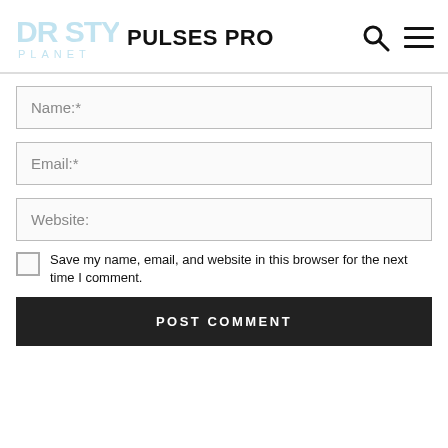DR STYLO PLANET — PULSES PRO
[Figure (logo): DR STYLO PLANET logo — stylized text in light blue/cyan watermark style]
PULSES PRO
Name:*
Email:*
Website:
Save my name, email, and website in this browser for the next time I comment.
POST COMMENT